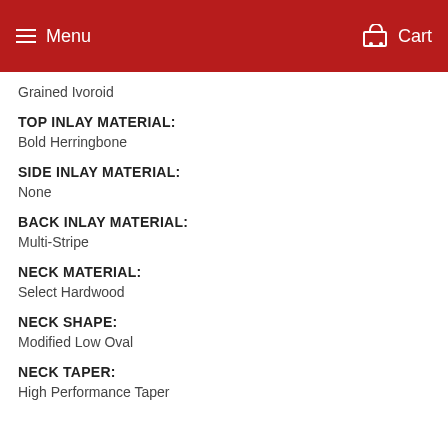Menu | Cart
Grained Ivoroid
TOP INLAY MATERIAL:
Bold Herringbone
SIDE INLAY MATERIAL:
None
BACK INLAY MATERIAL:
Multi-Stripe
NECK MATERIAL:
Select Hardwood
NECK SHAPE:
Modified Low Oval
NECK TAPER:
High Performance Taper